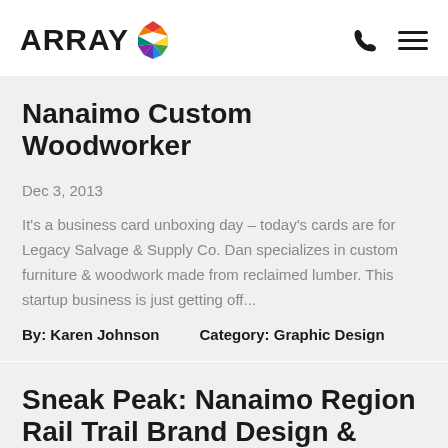ARRAY
Nanaimo Custom Woodworker
Dec 3, 2013
It's a business card unboxing day – today's cards are for Legacy Salvage & Supply Co. Dan specializes in custom furniture & woodwork made from reclaimed lumber. This startup business is just getting off...
By: Karen Johnson      Category: Graphic Design
Sneak Peak: Nanaimo Region Rail Trail Brand Design &